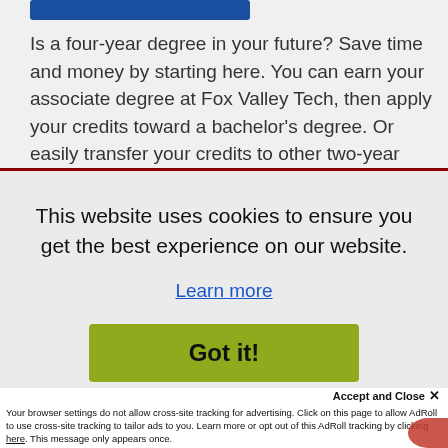[Figure (screenshot): Partial blue button at top of page]
Is a four-year degree in your future? Save time and money by starting here. You can earn your associate degree at Fox Valley Tech, then apply your credits toward a bachelor's degree. Or easily transfer your credits to other two-year colleges
This website uses cookies to ensure you get the best experience on our website.
Learn more
Got it!
Accept and Close ✕
Your browser settings do not allow cross-site tracking for advertising. Click on this page to allow AdRoll to use cross-site tracking to tailor ads to you. Learn more or opt out of this AdRoll tracking by clicking here. This message only appears once.